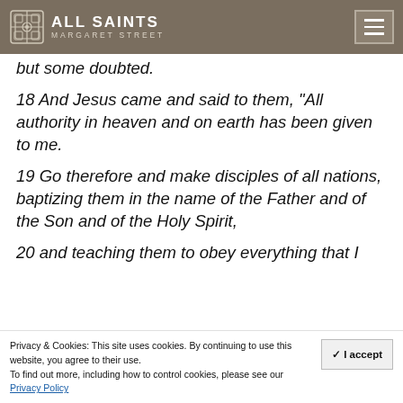ALL SAINTS MARGARET STREET
but some doubted.
18 And Jesus came and said to them, “All authority in heaven and on earth has been given to me.
19 Go therefore and make disciples of all nations, baptizing them in the name of the Father and of the Son and of the Holy Spirit,
20 and teaching them to obey everything that I
Privacy & Cookies: This site uses cookies. By continuing to use this website, you agree to their use. To find out more, including how to control cookies, please see our Privacy Policy